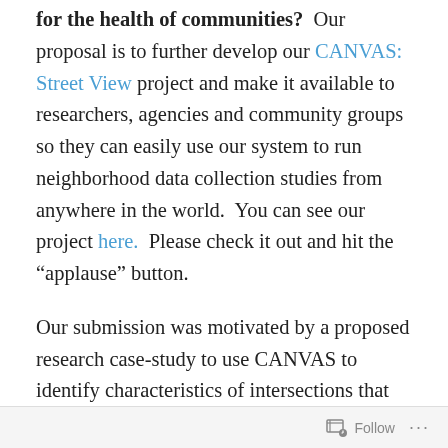for the health of communities? Our proposal is to further develop our CANVAS: Street View project and make it available to researchers, agencies and community groups so they can easily use our system to run neighborhood data collection studies from anywhere in the world. You can see our project here. Please check it out and hit the “applause” button.
Our submission was motivated by a proposed research case-study to use CANVAS to identify characteristics of intersections that put pedestrians at risk of injury or death. Approximately 5,000 pedestrians in the US are killed by motor vehicles ever year and many fold more are injured.
Follow ...